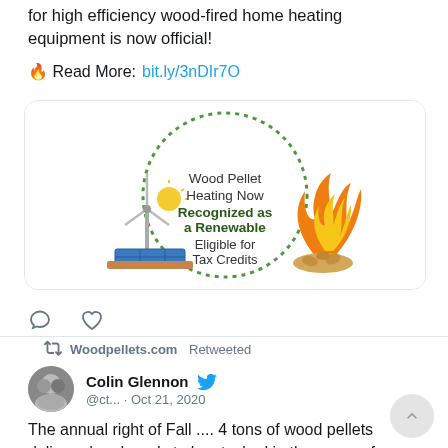for high efficiency wood-fired home heating equipment is now official!
🔥 Read More: bit.ly/3nDIr7O
[Figure (illustration): Circular dotted-border infographic showing a wind turbine with solar panels on the left and a fire/wood pellets on the right, with text: 'Wood Pellet Heating Now Recognized as a Renewable Eligible for Tax Credits']
↩ Woodpellets.com Retweeted
Colin Glennon @ct... · Oct 21, 2020
The annual right of Fall .... 4 tons of wood pellets delivered and ready to be stacked in the garage for the